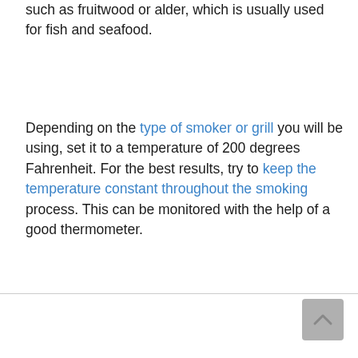such as fruitwood or alder, which is usually used for fish and seafood.
Depending on the type of smoker or grill you will be using, set it to a temperature of 200 degrees Fahrenheit. For the best results, try to keep the temperature constant throughout the smoking process. This can be monitored with the help of a good thermometer.